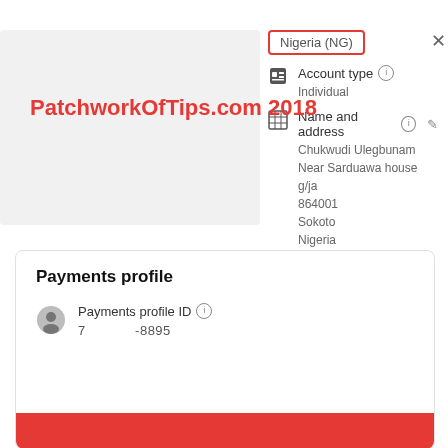[Figure (screenshot): Google AdSense account settings panel showing Nigeria (NG) country button, Account type: Individual, and Name and address fields with partial personal info (Chukwudi Ulegbunam, Near Sarduawa house g/ja, 864001, Sokoto, Nigeria). Also shows a Payments profile section with Payments profile ID (7 -8895) and a red button at the bottom.]
PatchworkOfTips.com 2018
Nigeria (NG)
Account type
Individual
Name and address
Chukwudi Ulegbunam
Near Sarduawa house g/ja
864001
Sokoto
Nigeria
Payments profile
Payments profile ID
7                -8895